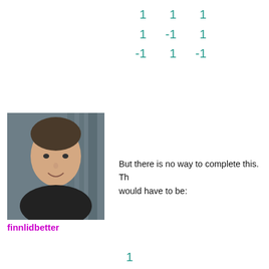[Figure (other): Matrix with teal/green colored values: row1=[1,1,1], row2=[1,-1,1], row3=[-1,1,-1]]
[Figure (photo): Profile photo of a young male user (finnlidbetter)]
finnlidbetter
But there is no way to complete this. The last column would have to be:
[Figure (other): Column vector with teal values: 1, -1, 1, -1]
So we get a conflict in the bottom right
→ Reply
5 years ago.
[Figure (photo): Profile photo of second commenter]
You miscalculated the last row wit... -1's because each column curren...